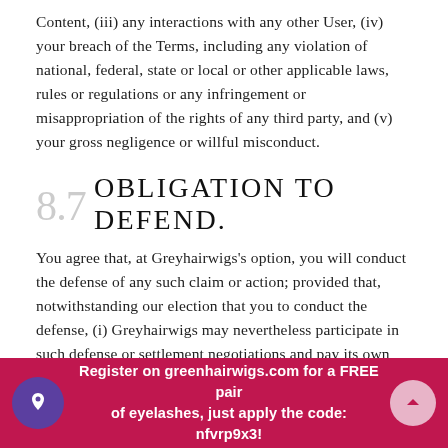Content, (iii) any interactions with any other User, (iv) your breach of the Terms, including any violation of national, federal, state or local or other applicable laws, rules or regulations or any infringement or misappropriation of the rights of any third party, and (v) your gross negligence or willful misconduct.
8.7 OBLIGATION TO DEFEND.
You agree that, at Greyhairwigs's option, you will conduct the defense of any such claim or action; provided that, notwithstanding our election that you to conduct the defense, (i) Greyhairwigs may nevertheless participate in such defense or settlement negotiations and pay its own costs associated therewith, and (ii) you will not enter into any settlement or other compromise without the prior written approval of Greyhairwigs (which approval shall not be unreasonably withheld), unless such settlement or other compromise includes a full and
Register on greenhairwigs.com for a FREE pair of eyelashes, just apply the code: nfvrp9x3!